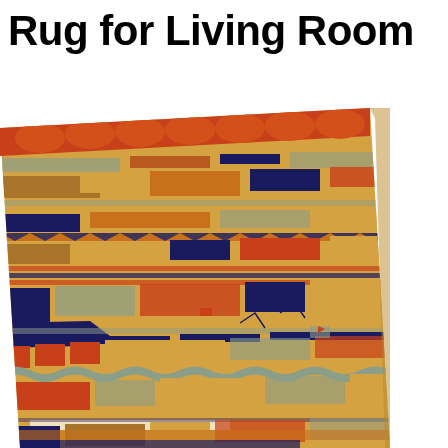Rug for Living Room
[Figure (photo): A colorful geometric patterned rug photographed at an angle, showing warm golden/amber tones with red, blue, teal, and orange geometric patterns including stripes, zigzags, and rectangular motifs in a kilim or flat-weave style.]